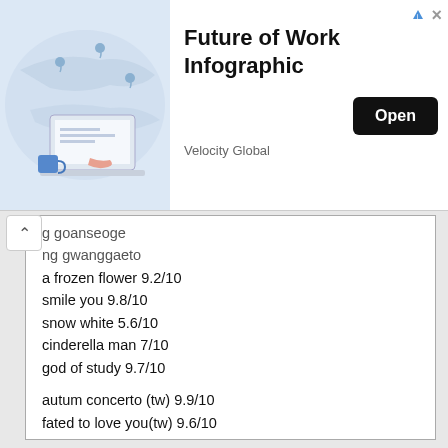[Figure (infographic): Ad banner for 'Future of Work Infographic' by Velocity Global, with illustration of person working on laptop with map background, and an Open button]
g goanseoge
ng gwanggaeto
a frozen flower 9.2/10
smile you 9.8/10
snow white 5.6/10
cinderella man 7/10
god of study 9.7/10

autum concerto (tw) 9.9/10
fated to love you(tw) 9.6/10

currently watching
warrior baek dong soo
birdie buddy
princess man
the musical
Reply ↓